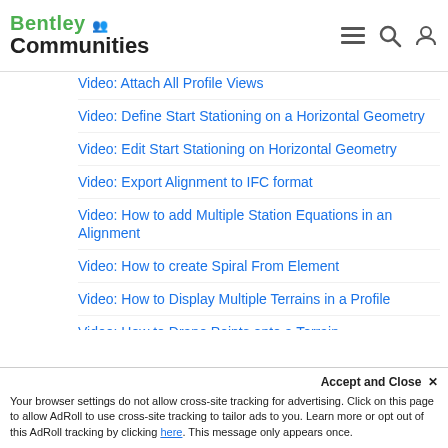Bentley Communities
Video: Attach All Profile Views
Video: Define Start Stationing on a Horizontal Geometry
Video: Edit Start Stationing on Horizontal Geometry
Video: Export Alignment to IFC format
Video: How to add Multiple Station Equations in an Alignment
Video: How to create Spiral From Element
Video: How to Display Multiple Terrains in a Profile
Video: How to Drape Points onto a Terrain
Video: How to import native InRoads ALG into OpenRoads Designer CONNECT Edition
Video: Merging DGN files that contain Civil Geometry
Video: Practical Uses of Civil Accudraw
Wiki: OpenRoads Designer[Geometry]: Point Abbreviations for Horizontal & Vertical Alignment
Model Analysis & Reporting
Accept and Close ×
Your browser settings do not allow cross-site tracking for advertising. Click on this page to allow AdRoll to use cross-site tracking to tailor ads to you. Learn more or opt out of this AdRoll tracking by clicking here. This message only appears once.